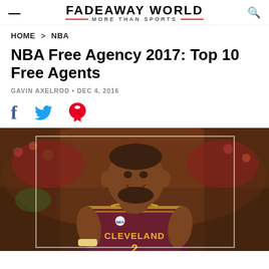FADEAWAY WORLD · MORE THAN SPORTS
HOME > NBA
NBA Free Agency 2017: Top 10 Free Agents
GAVIN AXELROD · DEC 4, 2016
[Figure (photo): Basketball player wearing a Cleveland Cavaliers jersey number 2, smiling, with a crowd in the background]
[Figure (infographic): Social media share icons: Facebook, Twitter, Pinterest]